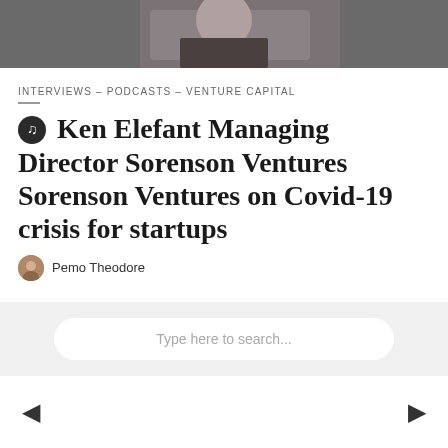[Figure (photo): Cropped photo of a man in a dark suit, partially visible from the torso/shoulders area]
INTERVIEWS - PODCASTS - VENTURE CAPITAL
🎵 Ken Elefant Managing Director Sorenson Ventures Sorenson Ventures on Covid-19 crisis for startups
Pemo Theodore